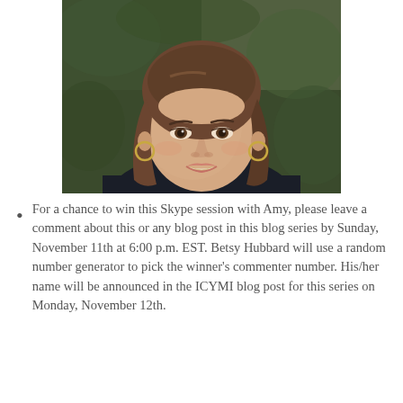[Figure (photo): Portrait photo of a smiling woman with shoulder-length brown hair, wearing a black jacket and white blouse, with hoop earrings, photographed outdoors against a blurred green background.]
For a chance to win this Skype session with Amy, please leave a comment about this or any blog post in this blog series by Sunday, November 11th at 6:00 p.m. EST. Betsy Hubbard will use a random number generator to pick the winner's commenter number. His/her name will be announced in the ICYMI blog post for this series on Monday, November 12th.